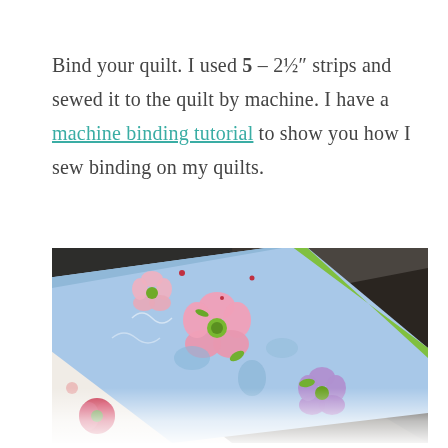Bind your quilt. I used 5 – 2½" strips and sewed it to the quilt by machine. I have a machine binding tutorial to show you how I sew binding on my quilts.
[Figure (photo): Close-up photo of a floral quilt binding laid diagonally across rocky ground. The quilt features blue fabric with large pink and purple flowers, green accents, and a light patterned backing. The background shows dark grey rocks.]